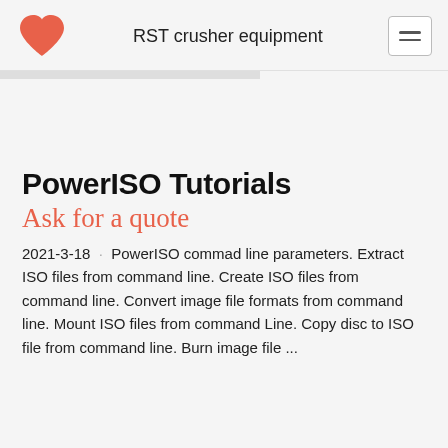RST crusher equipment
PowerISO Tutorials
Ask for a quote
2021-3-18 · PowerISO commad line parameters. Extract ISO files from command line. Create ISO files from command line. Convert image file formats from command line. Mount ISO files from command Line. Copy disc to ISO file from command line. Burn image file ...